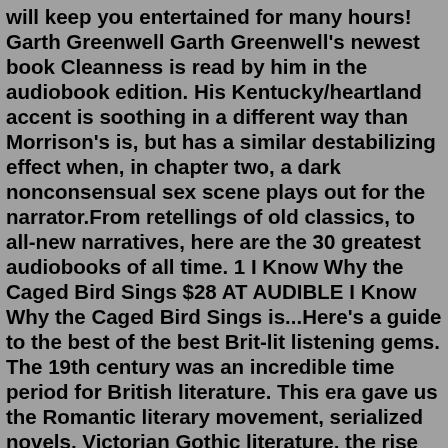will keep you entertained for many hours! Garth Greenwell Garth Greenwell's newest book Cleanness is read by him in the audiobook edition. His Kentucky/heartland accent is soothing in a different way than Morrison's is, but has a similar destabilizing effect when, in chapter two, a dark nonconsensual sex scene plays out for the narrator.From retellings of old classics, to all-new narratives, here are the 30 greatest audiobooks of all time. 1 I Know Why the Caged Bird Sings $28 AT AUDIBLE I Know Why the Caged Bird Sings is...Here's a guide to the best of the best Brit-lit listening gems. The 19th century was an incredible time period for British literature. This era gave us the Romantic literary movement, serialized novels, Victorian Gothic literature, the rise of detective fiction as we know it, and so much more. Clear rating. 1 of 5 stars 2 of 5 stars 3 of 5 stars 4 of 5 stars 5 of 5 stars. Aristotle and Dante Dive into the Waters of the World (Aristotle and Dante, #2) by. Benjamin Alire Sáenz (Goodreads Author) 4.15 avg rating — 46,930 ratings. Audio Award for Best Male Narrator (2022)